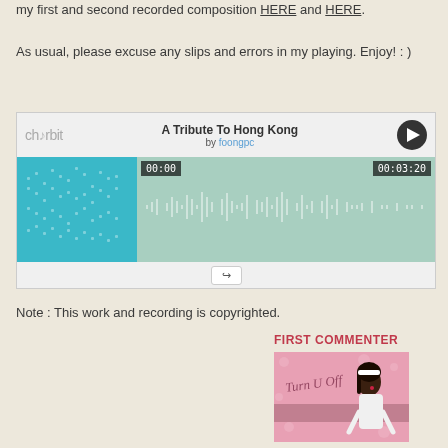my first and second recorded composition HERE and HERE.
As usual, please excuse any slips and errors in my playing. Enjoy! : )
[Figure (screenshot): Chorbit audio player widget showing 'A Tribute To Hong Kong' by foongpc, with waveform display, play button, timestamps 00:00 and 00:03:20, and a share button.]
Note : This work and recording is copyrighted.
FIRST COMMENTER
[Figure (illustration): Illustrated image of a stylized woman with dark hair and white dress on a pink floral background with 'Turn U Off' text.]